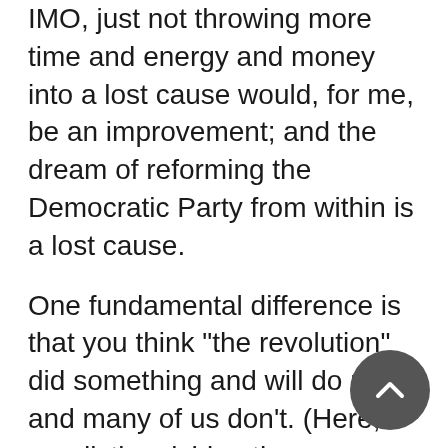IMO, just not throwing more time and energy and money into a lost cause would, for me, be an improvement; and the dream of reforming the Democratic Party from within is a lost cause.
One fundamental difference is that you think "the revolution" did something and will do more and many of us don't. (Here, I am distinguishing the "revolution" from Sanders' run for President, which at least spread the word.) When Sanders chalks a Shaheen victory up to his revolution, that's just silly, IMO. The people whom Sanders supporters would have liked to have seen elected didn't make it, like Tim Canova. And, news flash, a lot of